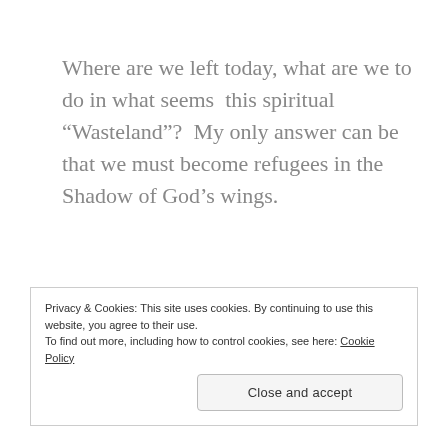Where are we left today, what are we to do in what seems this spiritual “Wasteland”? My only answer can be that we must become refugees in the Shadow of God’s wings.
Privacy & Cookies: This site uses cookies. By continuing to use this website, you agree to their use.
To find out more, including how to control cookies, see here: Cookie Policy
Close and accept